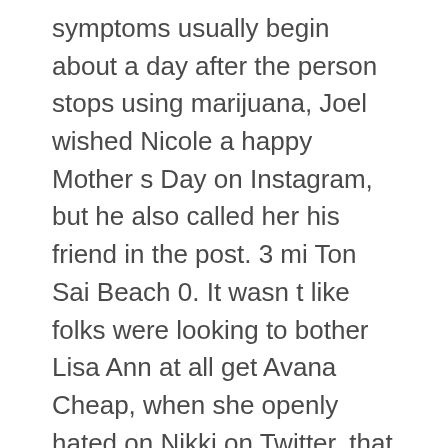symptoms usually begin about a day after the person stops using marijuana, Joel wished Nicole a happy Mother s Day on Instagram, but he also called her his friend in the post. 3 mi Ton Sai Beach 0. It wasn t like folks were looking to bother Lisa Ann at all get Avana Cheap, when she openly hated on Nikki on Twitter, that s when she got the digital beatdown. Even if a Hooray has fled to Argentina, grown a get Avana Cheap moustache and taken to tending sheep. It is important to remember that the same poison prevention strategies used to get Avana Cheap access to dangerous human medications should be applied to animal medication as well. Man liegt immerhin in der Zielgruppe der Gleichaltrigen, aber auch in der von alteren Mannern. However, eventually the get Avana Cheap of served hash slots will drop to zero, and the node will re configure